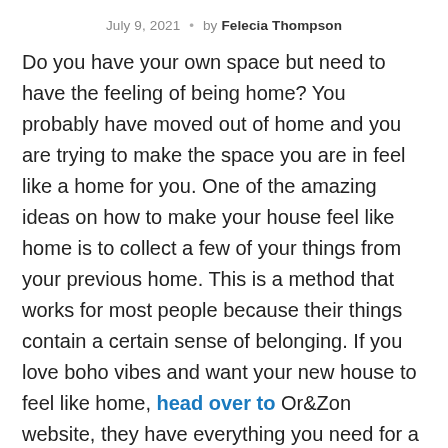July 9, 2021 · by Felecia Thompson
Do you have your own space but need to have the feeling of being home? You probably have moved out of home and you are trying to make the space you are in feel like a home for you. One of the amazing ideas on how to make your house feel like home is to collect a few of your things from your previous home. This is a method that works for most people because their things contain a certain sense of belonging. If you love boho vibes and want your new house to feel like home, head over to Or&Zon website, they have everything you need for a cozy home feel. You also should remember that a home comes with a lot to handle other than having things fixed here and there, as your mum or dad does. Anyway, if you're looking to make your house be cozy, keep reading the following tips….